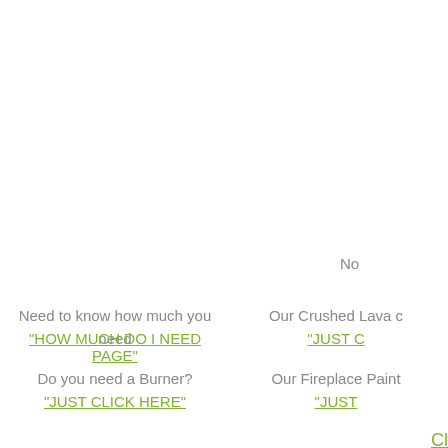No
Need to know how much you need
"HOW MUCH DO I NEED PAGE"
Do you need a Burner?
"JUST CLICK HERE"
Our Crushed Lava c
"JUST C
Our Fireplace Paint
"JUST
Cl